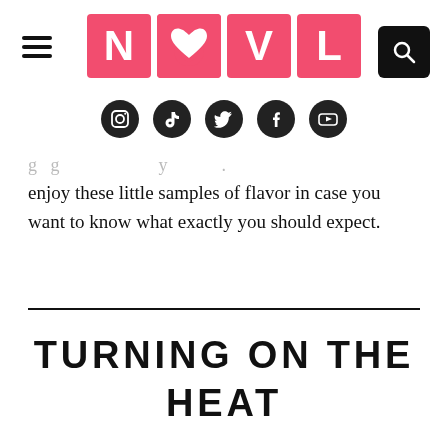[Figure (logo): NOVL logo with four pink tiles spelling N, O (with heart), V, L in white bold letters]
[Figure (infographic): Social media icons: Instagram, TikTok, Twitter, Facebook, YouTube — white icons on black circular backgrounds]
enjoy these little samples of flavor in case you want to know what exactly you should expect.
TURNING ON THE HEAT